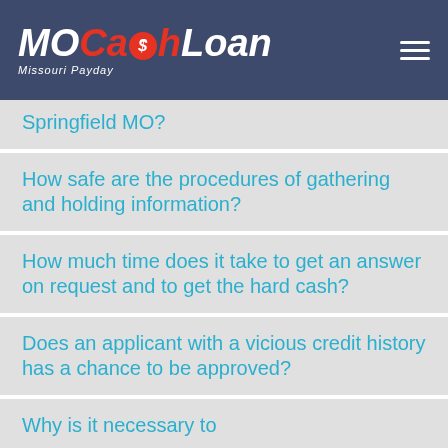MoCashLoan Missouri Payday
Springfield MO?
How safe are the procedures of gathering and holding information?
How much time does it take to get an answer on request and to get the hard cash?
Does an applicant with a vicious credit history has a chance to be approved?
Why is it necessary to